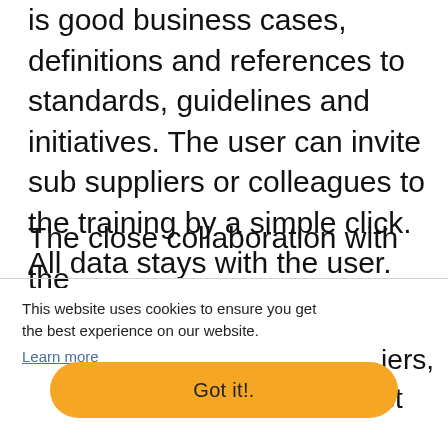is good business cases, definitions and references to standards, guidelines and initiatives. The user can invite sub suppliers or colleagues to the training by a simple click. All data stays with the user.
The close collaboration with the
This website uses cookies to ensure you get the best experience on our website.
Learn more
iers, st
Got it!.